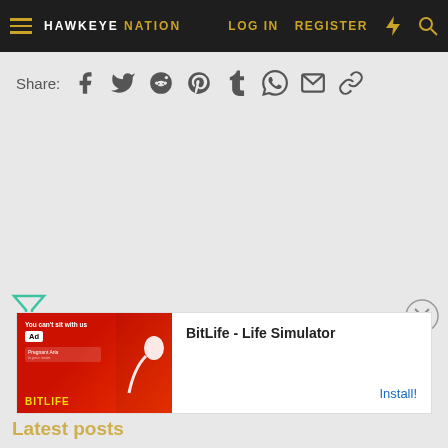HAWKEYE NATION | LOG IN | REGISTER
Share:
[Figure (screenshot): BitLife - Life Simulator advertisement banner with red image and app icon]
Latest posts